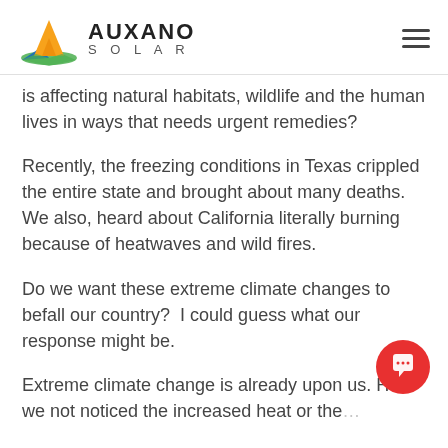AUXANO SOLAR
is affecting natural habitats, wildlife and the human lives in ways that needs urgent remedies?
Recently, the freezing conditions in Texas crippled the entire state and brought about many deaths. We also, heard about California literally burning because of heatwaves and wild fires.
Do we want these extreme climate changes to befall our country?  I could guess what our response might be.
Extreme climate change is already upon us. H… we not noticed the increased heat or the…